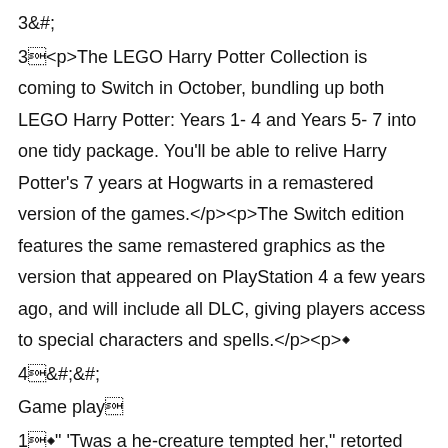3&#;
3<p>The LEGO Harry Potter Collection is coming to Switch in October, bundling up both LEGO Harry Potter: Years 1- 4 and Years 5- 7 into one tidy package. You'll be able to relive Harry Potter's 7 years at Hogwarts in a remastered version of the games.</p><p>The Switch edition features the same remastered graphics as the version that appeared on PlayStation 4 a few years ago, and will include all DLC, giving players access to special characters and spells.</p><p>◆
4&#;&#;
Game play
1◆" 'Twas a he-creature tempted her," retorted Miss Cornelia triumphantly.
2Carton Cat Mod Carton Cat v0.1.8 mod Features:Gold coins, glass beads infinite.Cats finally return to their home planet to rebuild their home.◆